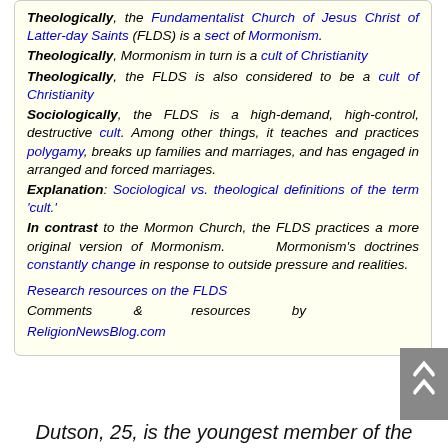Theologically, the Fundamentalist Church of Jesus Christ of Latter-day Saints (FLDS) is a sect of Mormonism. Theologically, Mormonism in turn is a cult of Christianity. Theologically, the FLDS is also considered to be a cult of Christianity. Sociologically, the FLDS is a high-demand, high-control, destructive cult. Among other things, it teaches and practices polygamy, breaks up families and marriages, and has engaged in arranged and forced marriages. Explanation: Sociological vs. theological definitions of the term 'cult.' In contrast to the Mormon Church, the FLDS practices a more original version of Mormonism. Mormonism's doctrines constantly change in response to outside pressure and realities.
Research resources on the FLDS
Comments & resources by ReligionNewsBlog.com
Dutson, 25, is the youngest member of the